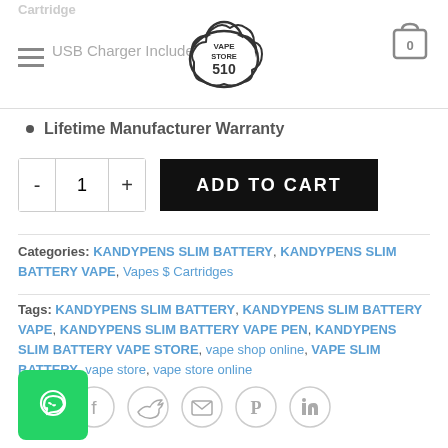Cartridge | USB Charger Included — Vape Store 510 logo with cart icon (0)
Lifetime Manufacturer Warranty
- 1 + [ADD TO CART button]
Categories: KANDYPENS SLIM BATTERY, KANDYPENS SLIM BATTERY VAPE, Vapes $ Cartridges
Tags: KANDYPENS SLIM BATTERY, KANDYPENS SLIM BATTERY VAPE, KANDYPENS SLIM BATTERY VAPE PEN, KANDYPENS SLIM BATTERY VAPE STORE, vape shop online, VAPE SLIM BATTERY, vape store, vape store online
[Figure (other): Row of 6 social share icons: WhatsApp, Facebook, Twitter, Email, Pinterest, LinkedIn — all circular outline style]